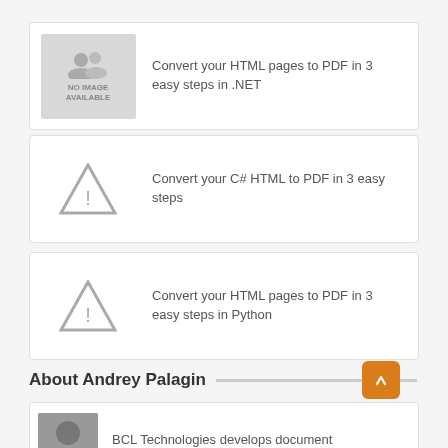[Figure (other): Card with no-image placeholder and text: Convert your HTML pages to PDF in 3 easy steps in .NET]
Convert your HTML pages to PDF in 3 easy steps in .NET
[Figure (other): Card with warning triangle placeholder and text: Convert your C# HTML to PDF in 3 easy steps]
Convert your C# HTML to PDF in 3 easy steps
[Figure (other): Card with warning triangle placeholder and text: Convert your HTML pages to PDF in 3 easy steps in Python]
Convert your HTML pages to PDF in 3 easy steps in Python
About Andrey Palagin
[Figure (other): Card with profile photo and partial text: BCL Technologies develops document]
BCL Technologies develops document